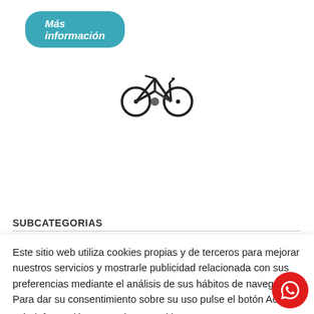Más información
[Figure (illustration): Black silhouette icon of a mountain/electric bicycle]
162 Resultados
SUBCATEGORIAS
Este sitio web utiliza cookies propias y de terceros para mejorar nuestros servicios y mostrarle publicidad relacionada con sus preferencias mediante el análisis de sus hábitos de navegación. Para dar su consentimiento sobre su uso pulse el botón Acepto. Más información  Gestionar cookies
ACEPTO